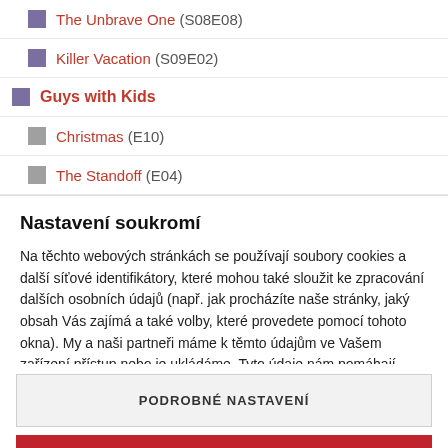The Unbrave One (S08E08)
Killer Vacation (S09E02)
Guys with Kids
Christmas (E10)
The Standoff (E04)
Nastavení soukromí
Na těchto webových stránkách se používají soubory cookies a další síťové identifikátory, které mohou také sloužit ke zpracování dalších osobních údajů (např. jak procházíte naše stránky, jaký obsah Vás zajímá a také volby, které provedete pomocí tohoto okna). My a naši partneři máme k těmto údajům ve Vašem zařízení přístup nebo je ukládáme. Tyto údaje nám pomáhají provozovat a zlepšovat naše služby. Můžeme Vám také doporučovat obsah a zobrazovat reklamy na základě Vašich preferencí. Pro
PODROBNÉ NASTAVENÍ
ROZUMÍM A PŘIJÍMÁM